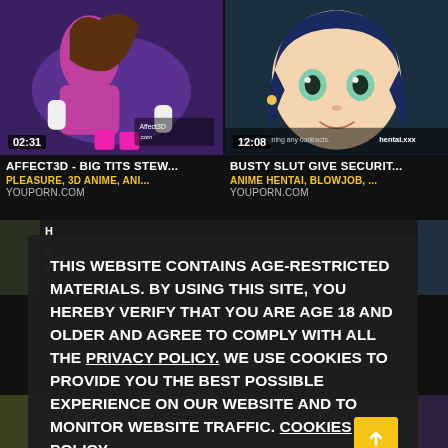[Figure (screenshot): Two adult video thumbnails side by side. Left thumbnail shows a 3D animated scene with timestamp 02:31 and Affect3D watermark. Right thumbnail shows an anime/hentai scene with timestamp 12:08 and hentai.xxx watermark.]
AFFECT3D - BIG TITS STEW...
PLEASURE, 3D ANIME, ANI...
YOUPORN.COM
BUSTY SLUT GIVE SECURIT...
ANIME HENTAI, BLOWJOB, ...
YOUPORN.COM
THIS WEBSITE CONTAINS AGE-RESTRICTED MATERIALS. BY USING THIS SITE, YOU HEREBY VERIFY THAT YOU ARE AGE 18 AND OLDER AND AGREE TO COMPLY WITH ALL THE PRIVACY POLICY. WE USE COOKIES TO PROVIDE YOU THE BEST POSSIBLE EXPERIENCE ON OUR WEBSITE AND TO MONITOR WEBSITE TRAFFIC. COOKIES POLICY.